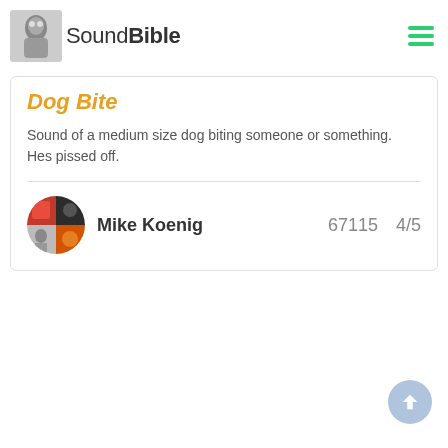SoundBible
Dog Bite
Sound of a medium size dog biting someone or something. Hes pissed off.
Mike Koenig   67115   4/5